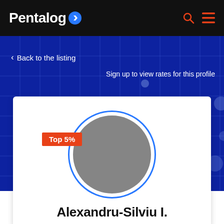Pentalog
‹ Back to the listing
Sign up to view rates for this profile
[Figure (photo): Circular profile photo placeholder with grey background, outlined by a blue circle. An orange badge reads 'Top 5%' on the left side.]
Alexandru-Silviu I.